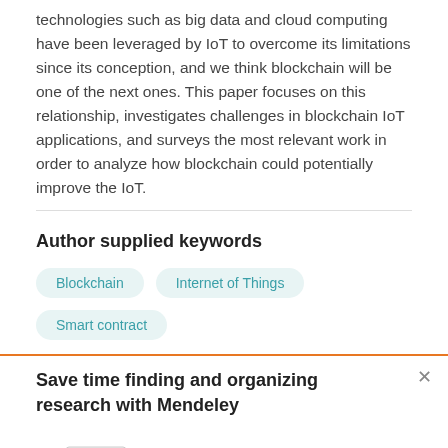technologies such as big data and cloud computing have been leveraged by IoT to overcome its limitations since its conception, and we think blockchain will be one of the next ones. This paper focuses on this relationship, investigates challenges in blockchain IoT applications, and surveys the most relevant work in order to analyze how blockchain could potentially improve the IoT.
Author supplied keywords
Blockchain
Internet of Things
Smart contract
Save time finding and organizing research with Mendeley
[Figure (illustration): Mendeley promotional illustration showing two document pages with a teal/green star icon]